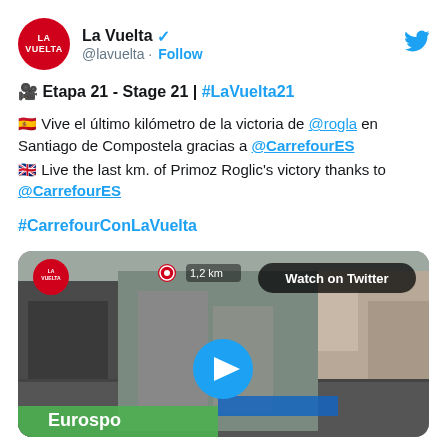[Figure (screenshot): Twitter/X post by La Vuelta (@lavuelta) about Stage 21 of La Vuelta 2021, with a video thumbnail showing a cyclist in Santiago de Compostela.]
La Vuelta @lavuelta · Follow
🎥 Etapa 21 - Stage 21 | #LaVuelta21
🇪🇸 Vive el último kilómetro de la victoria de @rogla en Santiago de Compostela gracias a @CarrefourES
🇬🇧 Live the last km. of Primoz Roglic's victory thanks to @CarrefourES
#CarrefourConLaVuelta